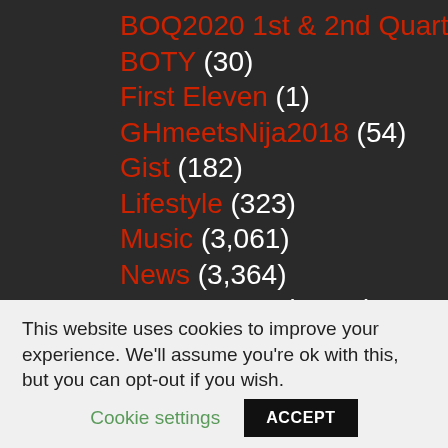BOQ2020 1st & 2nd Quarter (9)
BOTY (30)
First Eleven (1)
GHmeetsNija2018 (54)
Gist (182)
Lifestyle (323)
Music (3,061)
News (3,364)
NewsXMuse (2,669)
nsfw (11)
opinion (31)
Photo Stories (16)
Podcast (59)
This website uses cookies to improve your experience. We'll assume you're ok with this, but you can opt-out if you wish. Cookie settings ACCEPT